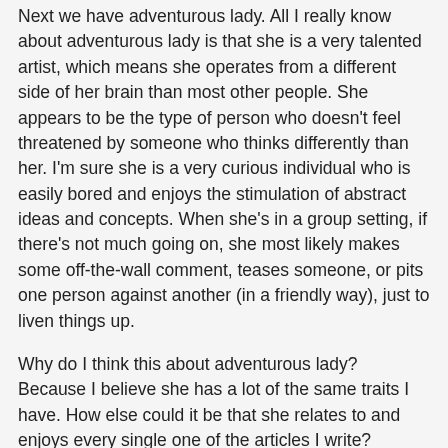Next we have adventurous lady.  All I really know about adventurous lady is that she is a very talented artist, which means she operates from a different side of her brain than most other people.  She appears to be the type of person who doesn't feel threatened by someone who thinks differently than her.  I'm sure she is a very curious individual who is easily bored and enjoys the stimulation of abstract ideas and concepts.  When she's in a group setting, if there's not much going on, she most likely makes some off-the-wall comment, teases someone, or pits one person against another (in a friendly way), just to liven things up.
Why do I think this about adventurous lady?  Because I believe she has a lot of the same traits I have.  How else could it be that she relates to and enjoys every single one of the articles I write?
Finally, we have spiritual lady.  She is a devout Catholic who prays more than any woman I know.  I can easily have a two hour conversation with her about religion and everything that is wrong in the world and we end up agreeing on almost everything we talk about.  The only problem I have with spiritual lady is she seems to be too